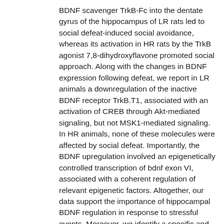BDNF scavenger TrkB-Fc into the dentate gyrus of the hippocampus of LR rats led to social defeat-induced social avoidance, whereas its activation in HR rats by the TrkB agonist 7,8-dihydroxyflavone promoted social approach. Along with the changes in BDNF expression following defeat, we report in LR animals a downregulation of the inactive BDNF receptor TrkB.T1, associated with an activation of CREB through Akt-mediated signaling, but not MSK1-mediated signaling. In HR animals, none of these molecules were affected by social defeat. Importantly, the BDNF upregulation involved an epigenetically controlled transcription of bdnf exon VI, associated with a coherent regulation of relevant epigenetic factors. Altogether, our data support the importance of hippocampal BDNF regulation in response to stressful events. Moreover, we identify a specific and adaptive regulation of bdnf exon VI in the hippocampus as a critical regulator of stress resilience, and strengthen the importance of epigenetic factors in